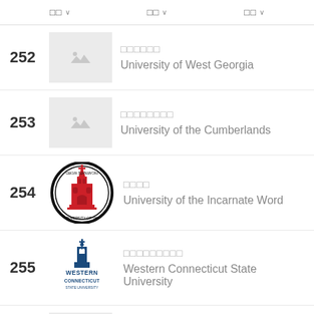□□ ∨   □□ ∨   □□ ∨
252 □□□□□□ University of West Georgia
253 □□□□□□□□ University of the Cumberlands
254 □□□□ University of the Incarnate Word
255 □□□□□□□□□ Western Connecticut State University
256 □□□□□□□